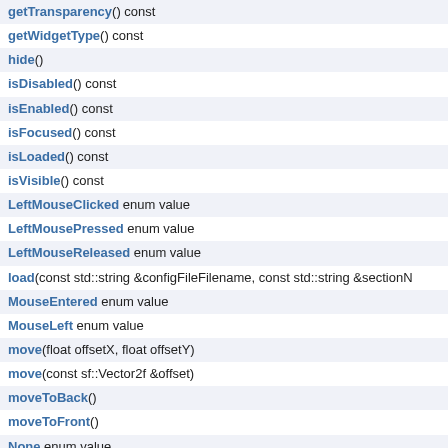getTransparency() const
getWidgetType() const
hide()
isDisabled() const
isEnabled() const
isFocused() const
isLoaded() const
isVisible() const
LeftMouseClicked enum value
LeftMousePressed enum value
LeftMouseReleased enum value
load(const std::string &configFileFilename, const std::string &sectionN
MouseEntered enum value
MouseLeft enum value
move(float offsetX, float offsetY)
move(const sf::Vector2f &offset)
moveToBack()
moveToFront()
None enum value
operator=(const Button &right)
tgui::ClickableWidget::operator=(const ClickableWidget &right)
tgui::Widget::operator=(const Widget &right)